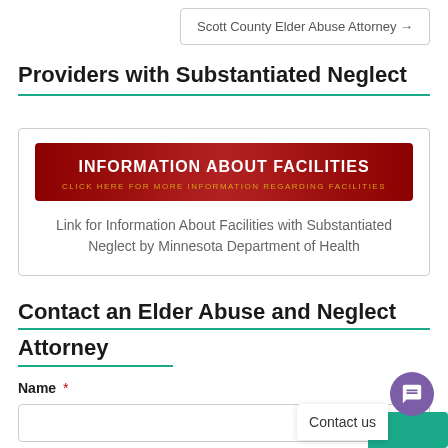Scott County Elder Abuse Attorney →
Providers with Substantiated Neglect
[Figure (screenshot): Red banner button reading INFORMATION ABOUT FACILITIES with subtitle CLICK HERE FOR MORE INFORMATION REGARDING FACILITIES]
Link for Information About Facilities with Substantiated Neglect by Minnesota Department of Health
Contact an Elder Abuse and Neglect Attorney
Name *
Contact us